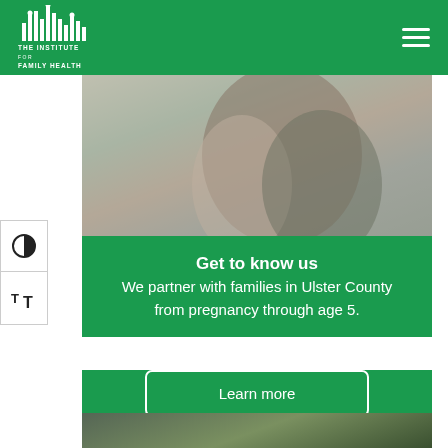The Institute for Family Health
[Figure (photo): A woman holding a newborn baby in a hospital or home setting, with another person nearby]
Get to know us
We partner with families in Ulster County from pregnancy through age 5.
Learn more
[Figure (photo): Partial view of people outdoors, bottom of page]